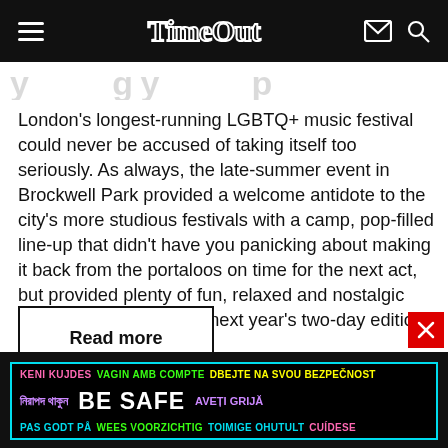Time Out
London's longest-running LGBTQ+ music festival could never be accused of taking itself too seriously. As always, the late-summer event in Brockwell Park provided a welcome antidote to the city's more studious festivals with a camp, pop-filled line-up that didn't have you panicking about making it back from the portaloos on time for the next act, but provided plenty of fun, relaxed and nostalgic vibes. We can't wait for next year's two-day edition!
Read more
[Figure (other): BE SAFE advertisement banner with multilingual safety text in pink, green, yellow, cyan, purple colors on black background with cyan border]